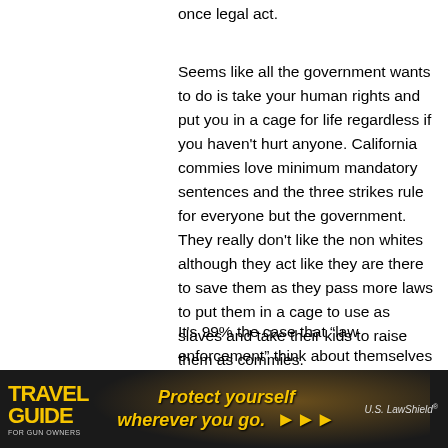once legal act.
Seems like all the government wants to do is take your human rights and put you in a cage for life regardless if you haven't hurt anyone. California commies love minimum mandatory sentences and the three strikes rule for everyone but the government. They really don't like the non whites although they act like they are there to save them as they pass more laws to put them in a cage to use as slaves and take their kids to raise them as commies.
It's 99% the case that “law enforcement” think about themselves first, money second and family third. America and its people do not factor in those cops' minds because those three mentioned above are
[Figure (photo): Advertisement banner for Travel Guide for Gun Owners featuring US LawShield. Dark background with yellow/gold text reading 'TRAVEL GUIDE' on the left, tagline 'Protect yourself wherever you go.' in italic yellow text in the center with orange arrow graphics, and US LawShield branding on the right.]